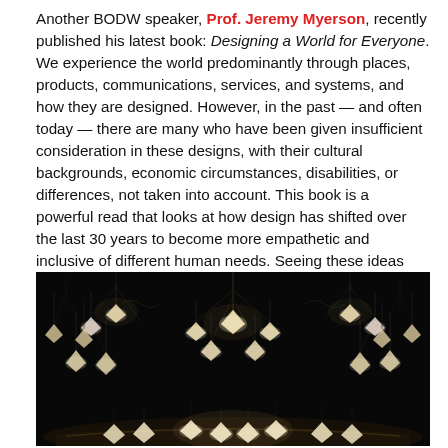Another BODW speaker, Prof. Jeremy Myerson, recently published his latest book: Designing a World for Everyone. We experience the world predominantly through places, products, communications, services, and systems, and how they are designed. However, in the past — and often today — there are many who have been given insufficient consideration in these designs, with their cultural backgrounds, economic circumstances, disabilities, or differences, not taken into account. This book is a powerful read that looks at how design has shifted over the last 30 years to become more empathetic and inclusive of different human needs. Seeing these ideas aligning internationally is uplifting and encouraging.
[Figure (photo): Dark atmospheric photo of an artistic lamp installation featuring multiple hanging pendant lamps with white geometric shades suspended from ornate metal frames, arranged in a curved architectural setting with a dark background.]